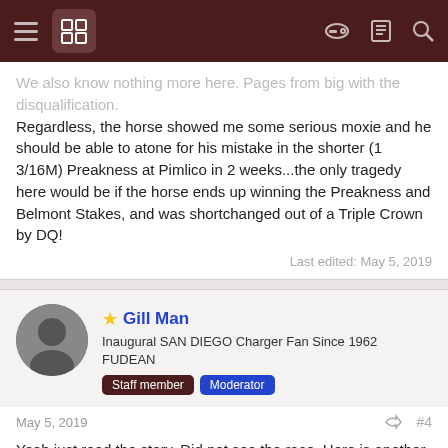Forum navigation bar with hamburger menu, logo, key icon, list icon, and search icon
We also know nothing more here. Pages from big with the disqualification.
Regardless, the horse showed me some serious moxie and he should be able to atone for his mistake in the shorter (1 3/16M) Preakness at Pimlico in 2 weeks...the only tragedy here would be if the horse ends up winning the Preakness and Belmont Stakes, and was shortchanged out of a Triple Crown by DQ!
Last edited: May 5, 2019
Gill Man
Inaugural SAN DIEGO Charger Fan Since 1962 FUDEAN
Staff member  Moderator
May 5, 2019  #4
Yeah just read the story. Did not see the race. Here is another article about the historic decision to DQ the winner:
http://www.espn.com/horse-racing/story/_/id/26672380/at/world-happened-2019-kentucky-derby
The background you supply HOF is interesting. Sounds like they were